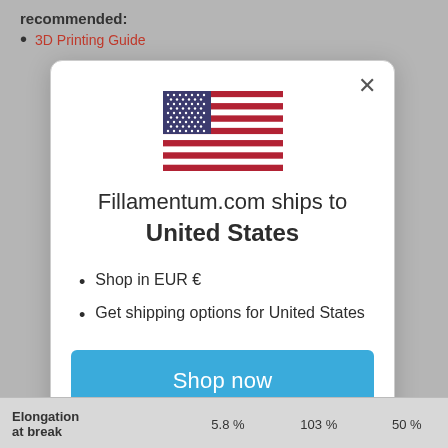recommended:
3D Printing Guide
[Figure (screenshot): A modal dialog box on fillamentum.com showing a US flag, text 'Fillamentum.com ships to United States', bullet points 'Shop in EUR €' and 'Get shipping options for United States', a blue 'Shop now' button, and a 'Change shipping country' link.]
|  |  |  |  |
| --- | --- | --- | --- |
| Elongation at break | 5.8 % | 103 % | 50 % |